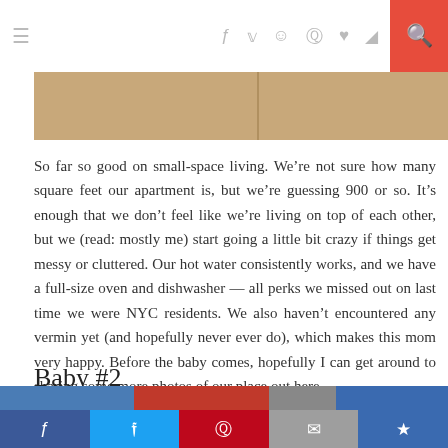≡   f  ♡  ✉  ♥  )))   🔍
[Figure (photo): Partial view of a tan/beige cardboard or wall surface, split into two panels]
So far so good on small-space living. We're not sure how many square feet our apartment is, but we're guessing 900 or so. It's enough that we don't feel like we're living on top of each other, but we (read: mostly me) start going a little bit crazy if things get messy or cluttered. Our hot water consistently works, and we have a full-size oven and dishwasher — all perks we missed out on last time we were NYC residents. We also haven't encountered any vermin yet (and hopefully never ever do), which makes this mom very happy. Before the baby comes, hopefully I can get around to sharing some more photos of our place out here.
Baby #2
[Figure (photo): Partial bottom strip of a photo, cropped]
f  t  p  ✉  ★